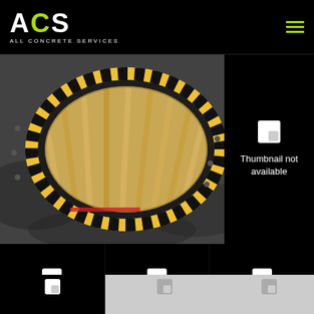[Figure (logo): ACS All Concrete Services logo — white text with lime green C letter on black background]
[Figure (photo): Overhead view of an oval concrete formwork with rebar/timber framing pattern on a concrete slab surface]
[Figure (photo): Thumbnail not available placeholder (top right)]
[Figure (photo): Thumbnail not available placeholder (bottom left)]
[Figure (photo): Thumbnail not available placeholder (bottom center)]
[Figure (photo): Thumbnail not available placeholder (bottom right)]
[Figure (photo): Thumbnail not available placeholder (bottom far left partial)]
[Figure (photo): Thumbnail not available placeholder (bottom center partial, light gray)]
[Figure (photo): Thumbnail not available placeholder (bottom right partial, light gray)]